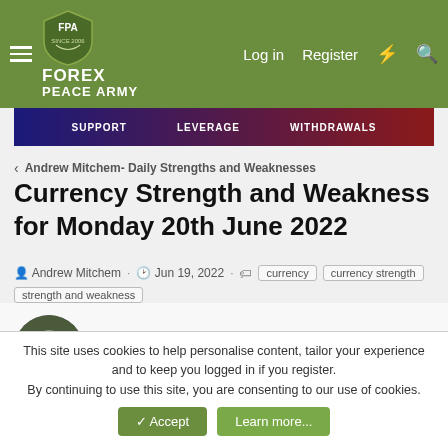FOREX PEACE ARMY - Navigation bar with Log in, Register
[Figure (screenshot): Banner ad with SUPPORT, LEVERAGE, WITHDRAWALS labels on dark gradient background]
< Andrew Mitchem- Daily Strengths and Weaknesses
Currency Strength and Weakness for Monday 20th June 2022
Andrew Mitchem · Jun 19, 2022 · currency  currency strength  strength and weakness
Andrew Mitchem
Special Consultant to the FPA
Jun 19, 2022  #1
This site uses cookies to help personalise content, tailor your experience and to keep you logged in if you register.
By continuing to use this site, you are consenting to our use of cookies.